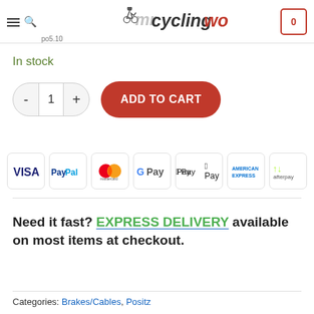Inner Brake Cable 1.5 x 2300mm — Mr Cycling World — Cart: 0
In stock
- 1 + ADD TO CART
[Figure (infographic): Payment method icons: VISA, PayPal, Mastercard, G Pay, Apple Pay, American Express, Afterpay]
Need it fast? EXPRESS DELIVERY available on most items at checkout.
Categories: Brakes/Cables, Positz